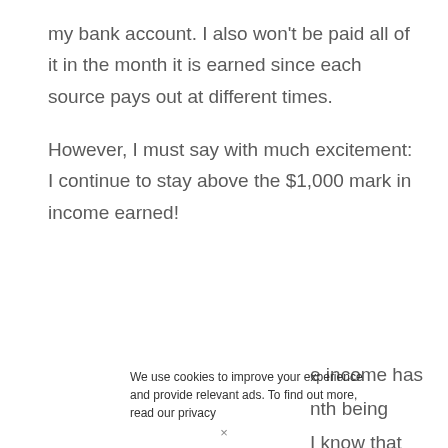my bank account. I also won't be paid all of it in the month it is earned since each source pays out at different times.
However, I must say with much excitement: I continue to stay above the $1,000 mark in income earned!
e income has nth being I know that
We use cookies to improve your experience and provide relevant ads. To find out more, read our privacy